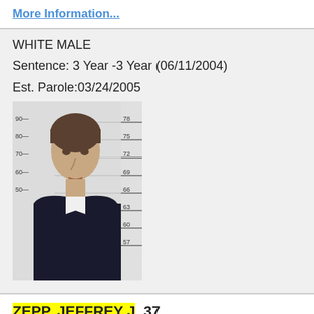More Information...
WHITE MALE
Sentence: 3 Year -3 Year (06/11/2004)
Est. Parole:03/24/2005
[Figure (photo): Mugshot of male inmate against height measurement background]
ZEPP, JEFFREY J, 37
More Information...
WHITE MALE
Prison: P2 PAROLE-DENVER WEST METR
Sentence: 9 Month -9 Month (10/03/2019)
Est. Parole: 00/00/0000